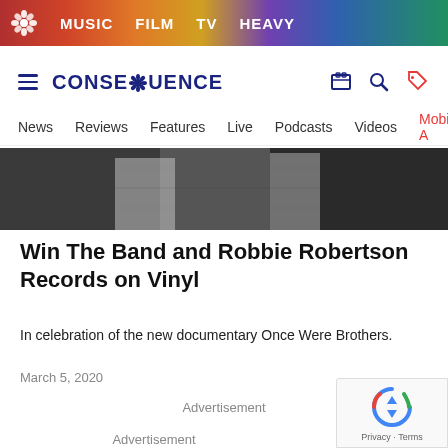MUSIC  FILM  TV  HEAVY
CONSEQUENCE — News  Reviews  Features  Live  Podcasts  Videos  Mobile A
[Figure (photo): Black and white photo showing men in jackets, partial view of torsos]
Win The Band and Robbie Robertson Records on Vinyl
In celebration of the new documentary Once Were Brothers.
March 5, 2020
Advertisement
Advertisement